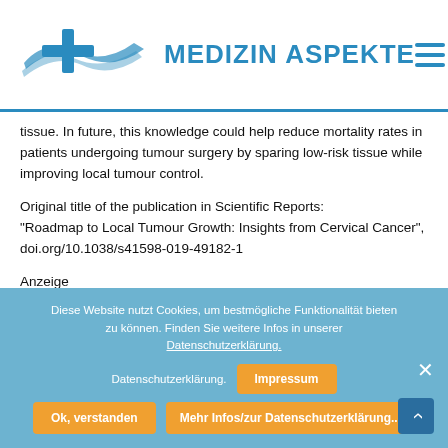MEDIZIN ASPEKTE
tissue. In future, this knowledge could help reduce mortality rates in patients undergoing tumour surgery by sparing low-risk tissue while improving local tumour control.
Original title of the publication in Scientific Reports:
“Roadmap to Local Tumour Growth: Insights from Cervical Cancer”, doi.org/10.1038/s41598-019-49182-1
Anzeige
Diese Website nutzt Cookies, um bestmögliche Funktionalität bieten zu können. Finden Sie weitere Infos in unserer Datenschutzerklärung.